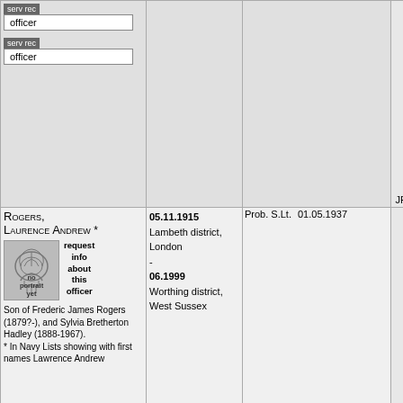| Name | Dates/Location | Rank/Awards | Ref |
| --- | --- | --- | --- |
| serv rec  officer
serv rec  officer |  |  | 14.0
JP (Co |
| Rogers, Laurence Andrew *
no portrait yet
request info about this officer
Son of Frederic James Rogers (1879?-), and Sylvia Bretherton Hadley (1888-1967).
* In Navy Lists showing with first names Lawrence Andrew | 05.11.1915 Lambeth district, London
-
06.1999 Worthing district, West Sussex | Prob. S.Lt. 01.05.1937
Lt. 19.10.1938
Lt.Cdr. 19.10.1946 (retd 10.11.1958)
MBE 12.06.1958 HM's birthday 1958 [investiture 02.12.1958] | 11
28.0
01.0
02. |